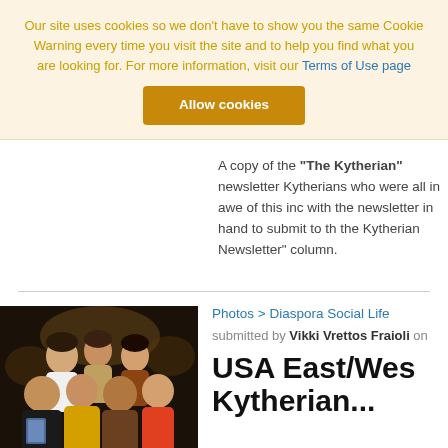Our site uses cookies so we don't have to show you the same Cookie Warning every time you visit the site and to help you find what you are looking for. For more information, visit our Terms of Use page
Allow cookies
A copy of the "The Kytherian" newsletter Kytherians who were all in awe of this inc with the newsletter in hand to submit to th the Kytherian Newsletter" column.
Photos > Diaspora Social Life
submitted by Vikki Vrettos Fraioli on
[Figure (photo): Group photo of several people at a social gathering/restaurant setting]
USA East/Wes Kytherian...